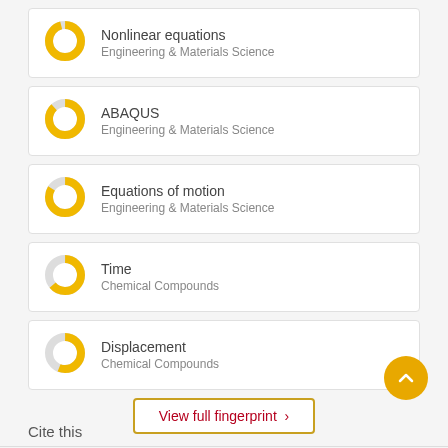Nonlinear equations — Engineering & Materials Science
ABAQUS — Engineering & Materials Science
Equations of motion — Engineering & Materials Science
Time — Chemical Compounds
Displacement — Chemical Compounds
View full fingerprint >
Cite this